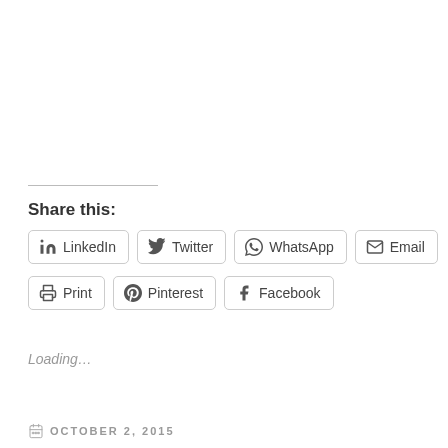Share this:
LinkedIn
Twitter
WhatsApp
Email
Print
Pinterest
Facebook
Loading...
OCTOBER 2, 2015